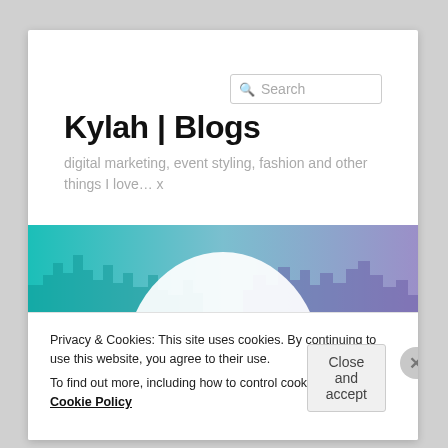Kylah | Blogs
digital marketing, event styling, fashion and other things I love… x
[Figure (illustration): Blog banner image showing a city skyline split between teal/cyan on the left and purple on the right, with a large white circle in the center and 'KYLAH BLOGS' text on it]
Privacy & Cookies: This site uses cookies. By continuing to use this website, you agree to their use.
To find out more, including how to control cookies, see here: Cookie Policy
Close and accept